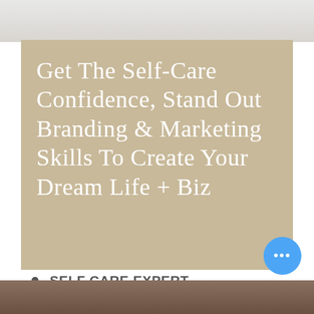[Figure (photo): Light gray/beige top image area, partial view of a product or background scene]
Get The Self-Care Confidence, Stand Out Branding & Marketing Skills To Create Your Dream Life + Biz
SELF CARE EXPERT
CERTIFIED ESSENTIAL OILS COACH
GRAPHIC DESIGNER
CERTIFIED MARKETING CONSULTANT
[Figure (photo): Bottom photo strip showing a partial view of a person or scene]